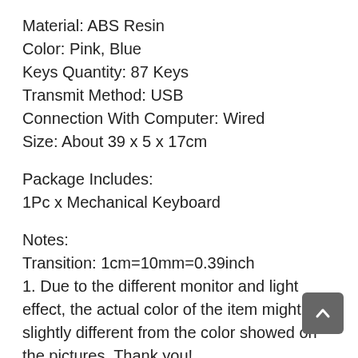Material: ABS Resin
Color: Pink, Blue
Keys Quantity: 87 Keys
Transmit Method: USB
Connection With Computer: Wired
Size: About 39 x 5 x 17cm
Package Includes:
1Pc x Mechanical Keyboard
Notes:
Transition: 1cm=10mm=0.39inch
1. Due to the different monitor and light effect, the actual color of the item might be slightly different from the color showed on the pictures. Thank you!
2. Please allow 1-3cm measuring deviation due to manual measurement.